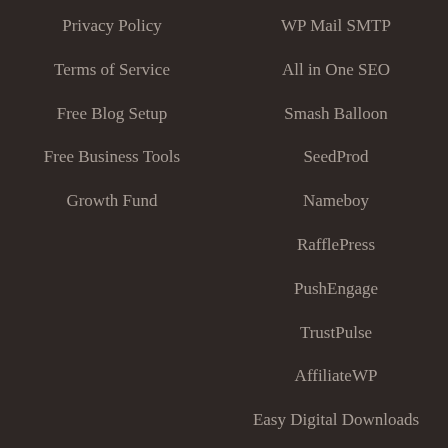Privacy Policy
Terms of Service
Free Blog Setup
Free Business Tools
Growth Fund
WP Mail SMTP
All in One SEO
Smash Balloon
SeedProd
Nameboy
RafflePress
PushEngage
TrustPulse
AffiliateWP
Easy Digital Downloads
WP Simple Pay
SearchWP